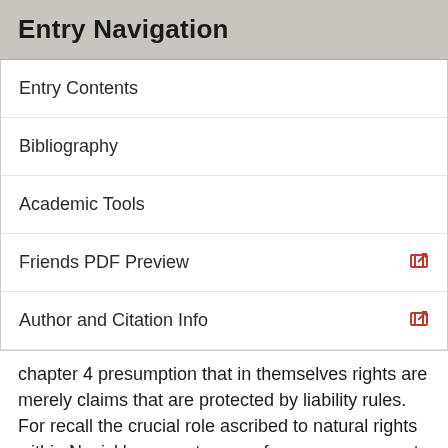Entry Navigation
Entry Contents
Bibliography
Academic Tools
Friends PDF Preview
Author and Citation Info
chapter 4 presumption that in themselves rights are merely claims that are protected by liability rules. For recall the crucial role ascribed to natural rights within Nozick's separateness of persons argument. That role is to provide individuals with moral protection against having sacrifices (i.e., net losses) imposed upon them. All that rights must do in order to play this role is to require that all boundary-crossings be accompanied by due compensation (and that they not be done if the provision of due accompanying compensation is not feasible).